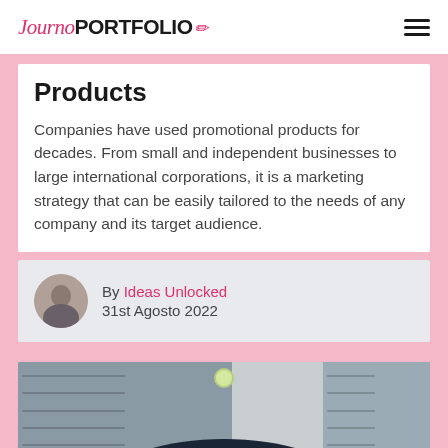Journo PORTFOLIO
Products
Companies have used promotional products for decades. From small and independent businesses to large international corporations, it is a marketing strategy that can be easily tailored to the needs of any company and its target audience.
By Ideas Unlocked
31st Agosto 2022
[Figure (photo): Exterior photo showing garage doors with a dark-colored car partially visible in the foreground]